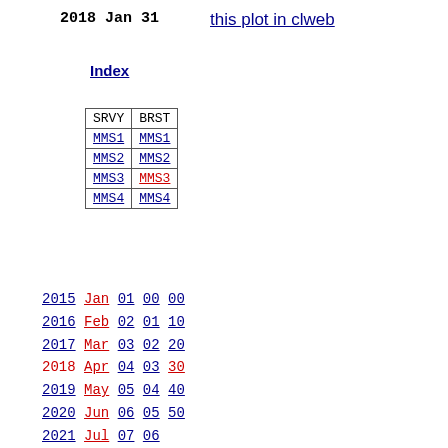2018 Jan 31   this plot in clweb
Index
| SRVY | BRST |
| --- | --- |
| MMS1 | MMS1 |
| MMS2 | MMS2 |
| MMS3 | MMS3 |
| MMS4 | MMS4 |
2015 Jan 01 00 00
2016 Feb 02 01 10
2017 Mar 03 02 20
2018 Apr 04 03 30
2019 May 05 04 40
2020 Jun 06 05 50
2021 Jul 07 06
2022 Aug 08 07
Sep 09 08
Oct 10 09